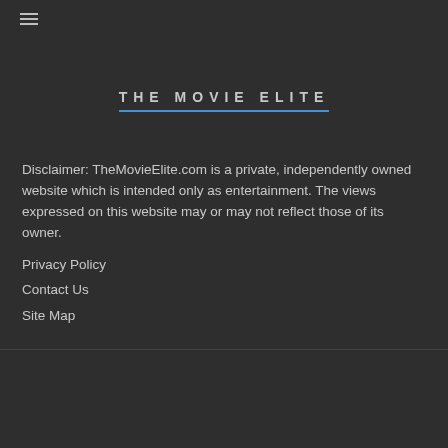≡
THE MOVIE ELITE
Disclaimer: TheMovieElite.com is a private, independently owned website which is intended only as entertainment. The views expressed on this website may or may not reflect those of its owner.
Privacy Policy
Contact Us
Site Map